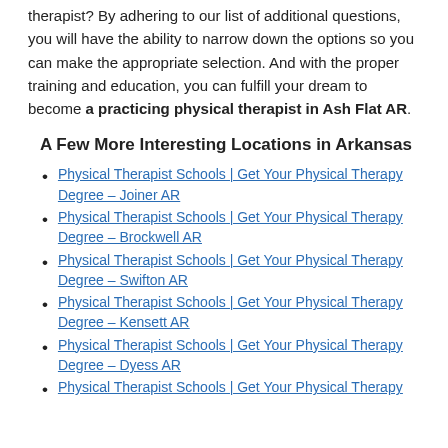therapist? By adhering to our list of additional questions, you will have the ability to narrow down the options so you can make the appropriate selection. And with the proper training and education, you can fulfill your dream to become a practicing physical therapist in Ash Flat AR.
A Few More Interesting Locations in Arkansas
Physical Therapist Schools | Get Your Physical Therapy Degree – Joiner AR
Physical Therapist Schools | Get Your Physical Therapy Degree – Brockwell AR
Physical Therapist Schools | Get Your Physical Therapy Degree – Swifton AR
Physical Therapist Schools | Get Your Physical Therapy Degree – Kensett AR
Physical Therapist Schools | Get Your Physical Therapy Degree – Dyess AR
Physical Therapist Schools | Get Your Physical Therapy Degree